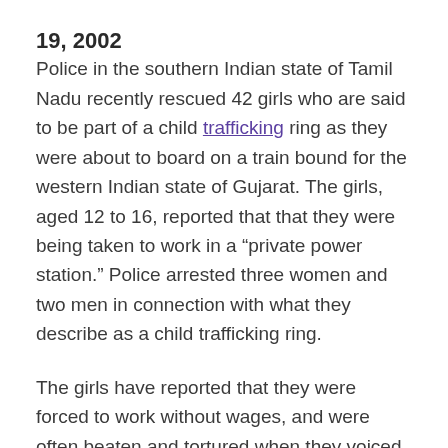19, 2002
Police in the southern Indian state of Tamil Nadu recently rescued 42 girls who are said to be part of a child trafficking ring as they were about to board on a train bound for the western Indian state of Gujarat. The girls, aged 12 to 16, reported that that they were being taken to work in a “private power station.” Police arrested three women and two men in connection with what they describe as a child trafficking ring.
The girls have reported that they were forced to work without wages, and were often beaten and tortured when they voiced any complaints. Advocate groups explain that most of the children